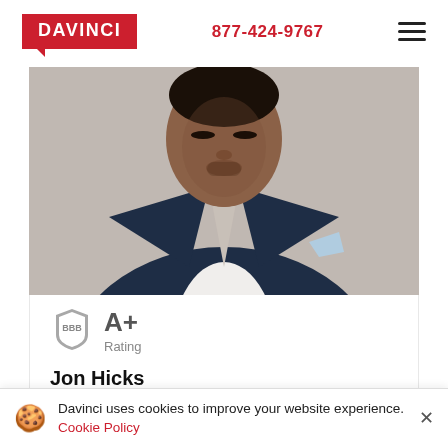[Figure (logo): Davinci logo — red rectangle with white text DAVINCI and a speech bubble pointer at bottom-left]
877-424-9767
[Figure (illustration): Hamburger menu icon — three horizontal dark lines]
[Figure (photo): Portrait photo of a man in a navy blue suit with white shirt and light blue pocket square, gray background, cropped at chest level]
[Figure (logo): BBB logo with A+ Rating text]
Jon Hicks
Davinci uses cookies to improve your website experience. Cookie Policy